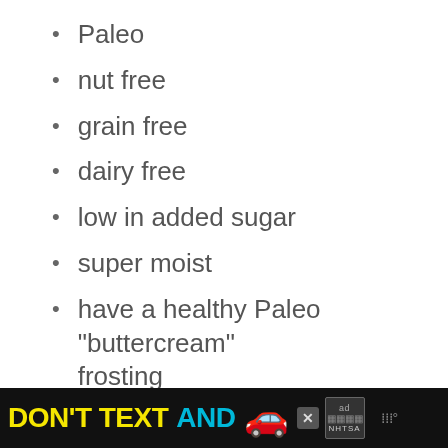Paleo
nut free
grain free
dairy free
low in added sugar
super moist
have a healthy Paleo "buttercream" frosting
[Figure (screenshot): Advertisement banner at bottom: black background with yellow 'DON'T TEXT' text, cyan 'AND' text, red car emoji, ad choices box, NHTSA logo, and weather widget icon.]